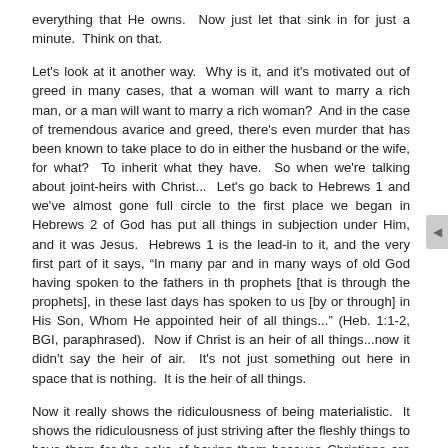everything that He owns.  Now just let that sink in for just a minute.  Think on that.
Let's look at it another way.  Why is it, and it's motivated out of greed in many cases, that a woman will want to marry a rich man, or a man will want to marry a rich woman?  And in the case of tremendous avarice and greed, there's even murder that has been known to take place to do in either the husband or the wife, for what?  To inherit what they have.  So when we're talking about joint-heirs with Christ...  Let's go back to Hebrews 1 and we've almost gone full circle to the first place we began in Hebrews 2 of God has put all things in subjection under Him, and it was Jesus.  Hebrews 1 is the lead-in to it, and the very first part of it says, "In many par and in many ways of old God having spoken to the fathers in th prophets [that is through the prophets], in these last days has spoken to us [by or through] in His Son, Whom He appointed heir of all things..." (Heb. 1:1-2, BGI, paraphrased).  Now if Christ is an heir of all things...now it didn't say the heir of air.  It's not just something out here in space that is nothing.  It is the heir of all things.
Now it really shows the ridiculousness of being materialistic.  It shows the ridiculousness of just striving after the fleshly things to have them for the sake of having them because Christians are going to have the best of everything through Christ.  Appointed heir of all things.  That's everything that there is in the universe we